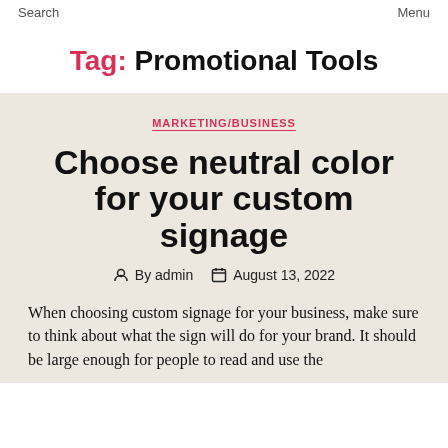Search    Menu
Tag: Promotional Tools
MARKETING/BUSINESS
Choose neutral color for your custom signage
By admin    August 13, 2022
When choosing custom signage for your business, make sure to think about what the sign will do for your brand. It should be large enough for people to read and use the